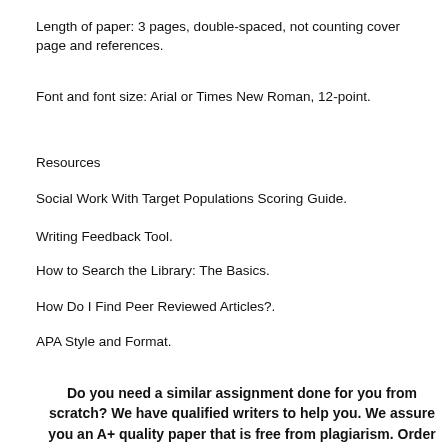Length of paper: 3 pages, double-spaced, not counting cover page and references.
Font and font size: Arial or Times New Roman, 12-point.
Resources
Social Work With Target Populations Scoring Guide.
Writing Feedback Tool.
How to Search the Library: The Basics.
How Do I Find Peer Reviewed Articles?.
APA Style and Format.
Do you need a similar assignment done for you from scratch? We have qualified writers to help you. We assure you an A+ quality paper that is free from plagiarism. Order now for an Amazing